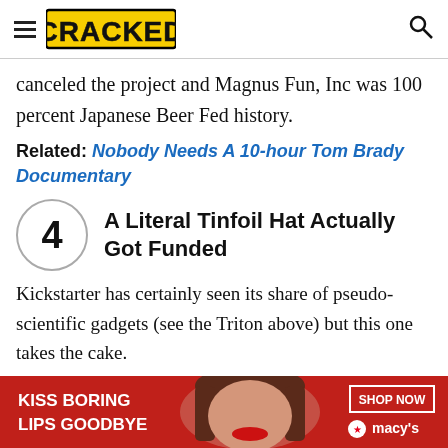CRACKED
canceled the project and Magnus Fun, Inc was 100 percent Japanese Beer Fed history.
Related: Nobody Needs A 10-hour Tom Brady Documentary
4 A Literal Tinfoil Hat Actually Got Funded
Kickstarter has certainly seen its share of pseudo-scientific gadgets (see the Triton above) but this one takes the cake.
[Figure (other): Advertisement banner: KISS BORING LIPS GOODBYE with woman's face and SHOP NOW / macy's logo]